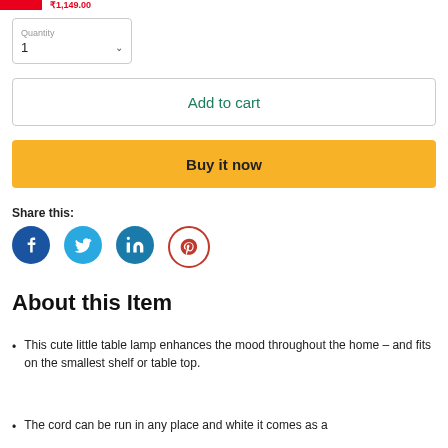[Figure (screenshot): Red button and red price text at top of page]
Quantity
1
Add to cart
Buy it now
Share this:
[Figure (infographic): Social media icons: Facebook (blue), Twitter (light blue), LinkedIn (teal), Pinterest (red/white)]
About this Item
This cute little table lamp enhances the mood throughout the home – and fits on the smallest shelf or table top.
The cord can be run in any place and white it comes as a...